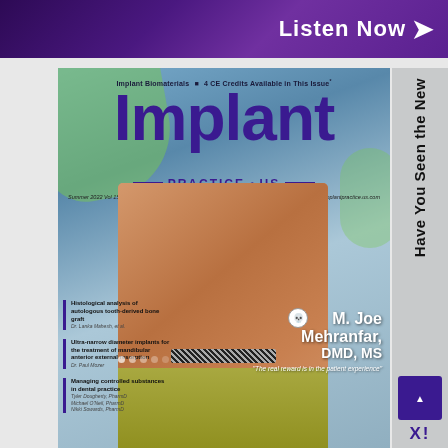[Figure (photo): Top purple banner with 'Listen Now' text and arrow]
[Figure (photo): Magazine cover of Implant Practice US, Summer 2022 Vol 15 No 2, featuring M. Joe Mehranfar DMD MS on the cover with articles about implant biomaterials and CE credits]
Implant Biomaterials  ▪  4 CE Credits Available in This Issue*
Implant
PRACTICE • US
Summer 2022 Vol 15 No 2
implantpractice.us.com
M. Joe Mehranfar, DMD, MS
"The real reward is in the patient experience"
Histological analysis of autologous tooth-derived bone graft
Dr. Lanka Mahesh, et al.
Ultra-narrow diameter implants for the treatment of mandibular anterior external resorption
Dr. Paul Mozer
Managing controlled substances in dental practice
Tyler Dougherty, PharmD
Michael O'Neil, PharmD
Nikki Sowards, PharmD
Have You Seen the New